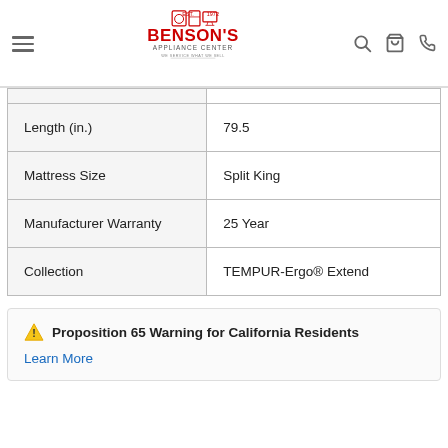[Figure (logo): Benson's Appliance Center logo with red text and appliance icons]
|  |  |
| --- | --- |
| Length (in.) | 79.5 |
| Mattress Size | Split King |
| Manufacturer Warranty | 25 Year |
| Collection | TEMPUR-Ergo® Extend |
⚠ Proposition 65 Warning for California Residents
Learn More